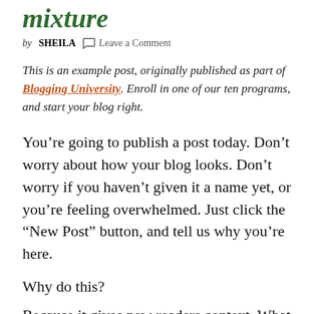mixture
by SHEILA  Leave a Comment
This is an example post, originally published as part of Blogging University. Enroll in one of our ten programs, and start your blog right.
You’re going to publish a post today. Don’t worry about how your blog looks. Don’t worry if you haven’t given it a name yet, or you’re feeling overwhelmed. Just click the “New Post” button, and tell us why you’re here.
Why do this?
Because it gives new readers context. What